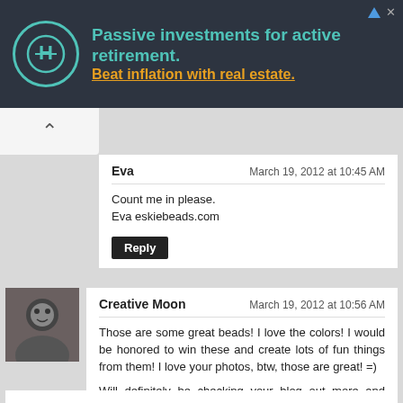[Figure (other): Advertisement banner: Passive investments for active retirement. Beat inflation with real estate. Dark background with teal logo.]
Eva
March 19, 2012 at 10:45 AM

Count me in please.
Eva eskiebeads.com

[Reply]
Creative Moon
March 19, 2012 at 10:56 AM

Those are some great beads! I love the colors! I would be honored to win these and create lots of fun things from them! I love your photos, btw, those are great! =)

Will definitely be checking your blog out more and subscribing, and I'll post on FB and Twitter as well! =)

[Reply]